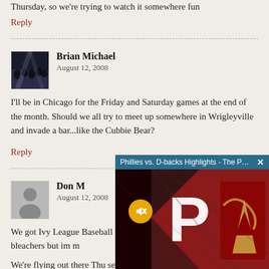Thursday, so we're trying to watch it somewhere fun
Reply
Brian Michael
August 12, 2008
I'll be in Chicago for the Friday and Saturday games at the end of the month. Should we all try to meet up somewhere in Wrigleyville and invade a bar...like the Cubbie Bear?
Reply
Don M
August 12, 2008
We got Ivy League Baseball tickets for Sat and Sunday. other is bleachers but im m
We're flying out there Thu searching online for Phila results are all over the pla
[Figure (screenshot): Video overlay showing 'Phillies vs. D-backs Highlights - The Phill...' with a teal title bar and close button, showing a thumbnail with a large white P letter and Diamondbacks logo on a red background, with a yellow mute button overlay]